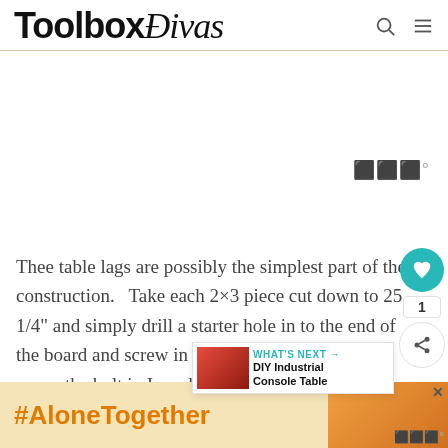ToolboxDivas
[Figure (screenshot): White advertisement space below header]
Thee table lags are possibly the simplest part of the construction.   Take each 2×3 piece cut down to 25 1/4" and simply drill a starter hole in to the end of the board and screw in the 5/16"-18 x 2" Han  To screw the bolt in I used an adjustable pliers.
[Figure (screenshot): Bottom advertisement banner with #AloneTogether text and image of woman]
WHAT'S NEXT → DIY Industrial Console Table